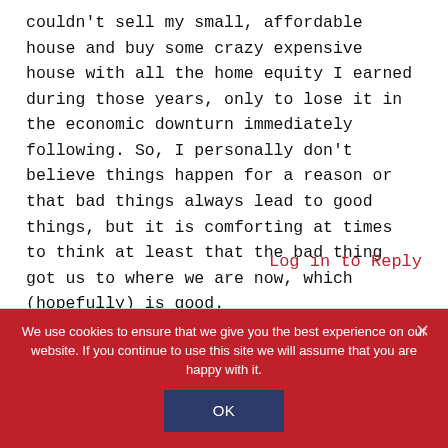couldn't sell my small, affordable house and buy some crazy expensive house with all the home equity I earned during those years, only to lose it in the economic downturn immediately following. So, I personally don't believe things happen for a reason or that bad things always lead to good things, but it is comforting at times to think at least that the bad thing got us to where we are now, which (hopefully) is good.
Log in to Reply
We use cookies to ensure that we give you the best experience on our website. If you continue to use this site we will assume that you are happy with it.